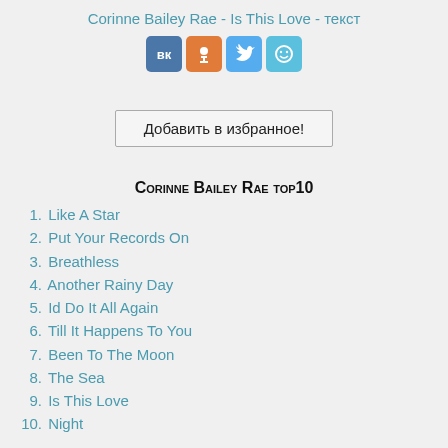Corinne Bailey Rae - Is This Love - текст
[Figure (infographic): Four social media share buttons: VK (blue), OK (orange), Twitter (blue bird), and a smiley icon (light blue)]
Добавить в избранное!
Corinne Bailey Rae top10
1. Like A Star
2. Put Your Records On
3. Breathless
4. Another Rainy Day
5. Id Do It All Again
6. Till It Happens To You
7. Been To The Moon
8. The Sea
9. Is This Love
10. Night